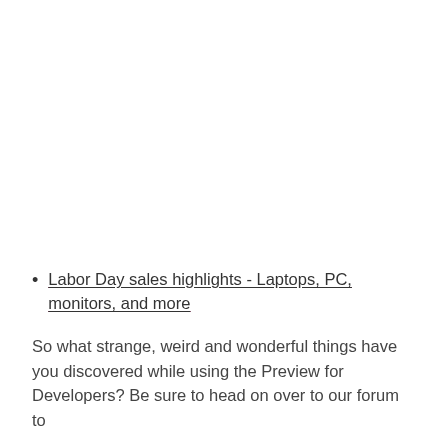Labor Day sales highlights - Laptops, PC, monitors, and more
So what strange, weird and wonderful things have you discovered while using the Preview for Developers? Be sure to head on over to our forum to